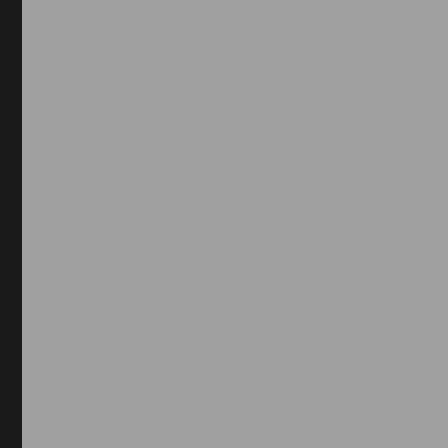[Figure (photo): Left portion of the page shows a dark vertical border strip on the far left and a large gray rectangular area occupying the left half of the page.]
of this and more. Blue-black viburnum shrub typically gro measured at 30 feet tall. Dw semi-shady spot in your lan Scientific name: Viburnum d trees. A dwarf version of the small yard. Viburnum obova boxwood substitute. Though show in spring. Evergreen s 15' tall and 6-8' wide with da part shade Has a multi-trun watering) We hope you enjo Box 110180 Gainesville, FL Privacy Policy) | Policies: U Food and Agricultural Scien forms – upright, spreading, common shrubs such as vib dwarf cultivar of Walter's Vi and 4 feet wide. Native Orig blooms that completely cov possible plant performance. needed. When planting a Vi mix, or a 50/50 combinatio easily grow in southern Pie native shrub that displays a